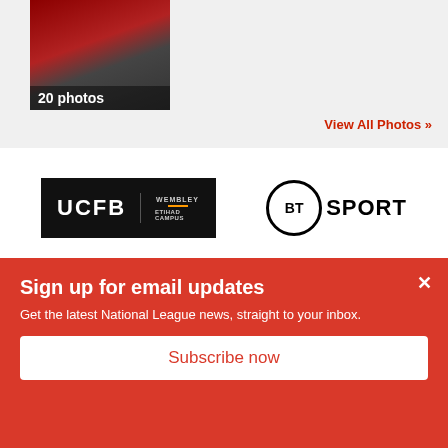[Figure (photo): Soccer player in red uniform — thumbnail showing '20 photos' overlay]
View All Photos »
[Figure (logo): UCFB Wembley & Etihad Campus logo on black background]
[Figure (logo): BT Sport logo — BT in circle with SPORT text]
[Figure (logo): Vanarama National League logo on dark background]
[Figure (logo): New Balance logo — NB in white on red background]
Sign up for email updates
Get the latest National League news, straight to your inbox.
Subscribe now